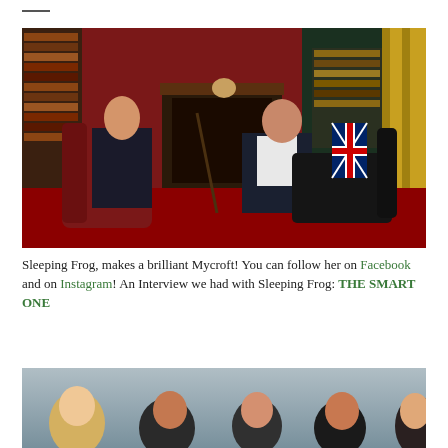[Figure (photo): Two people seated in an ornate Victorian-style room with bookshelves, red patterned wallpaper, a fireplace, and vintage decor. One person in a dark suit on the left, another in a dark suit with white shirt on the right, both holding a cane/umbrella between them.]
Sleeping Frog, makes a brilliant Mycroft! You can follow her on Facebook and on Instagram! An Interview we had with Sleeping Frog: THE SMART ONE
[Figure (photo): Group photo of several people posed together against a blue-grey background, partial view showing heads and shoulders.]